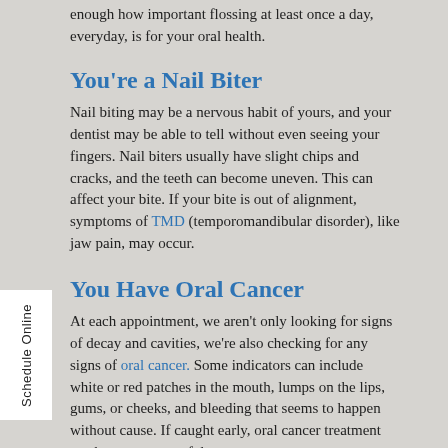enough how important flossing at least once a day, everyday, is for your oral health.
You're a Nail Biter
Nail biting may be a nervous habit of yours, and your dentist may be able to tell without even seeing your fingers. Nail biters usually have slight chips and cracks, and the teeth can become uneven. This can affect your bite. If your bite is out of alignment, symptoms of TMD (temporomandibular disorder), like jaw pain, may occur.
You Have Oral Cancer
At each appointment, we aren't only looking for signs of decay and cavities, we're also checking for any signs of oral cancer. Some indicators can include white or red patches in the mouth, lumps on the lips, gums, or cheeks, and bleeding that seems to happen without cause. If caught early, oral cancer treatment can be very successful,